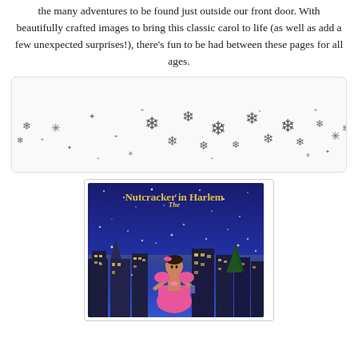the many adventures to be found just outside our front door. With beautifully crafted images to bring this classic carol to life (as well as add a few unexpected surprises!), there's fun to be had between these pages for all ages.
[Figure (illustration): A decorative box with various snowflake designs scattered across it, in a grey/dark color on a light background.]
[Figure (photo): Book cover of 'The Nutcracker in Harlem' showing a girl in a pink dress against a nighttime Harlem skyline with stars and snow.]